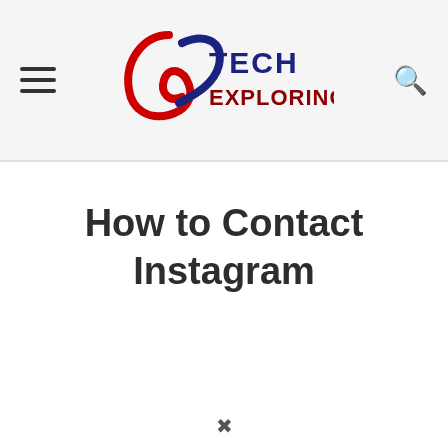Tech Exploring logo with hamburger menu and search icon
How to Contact Instagram